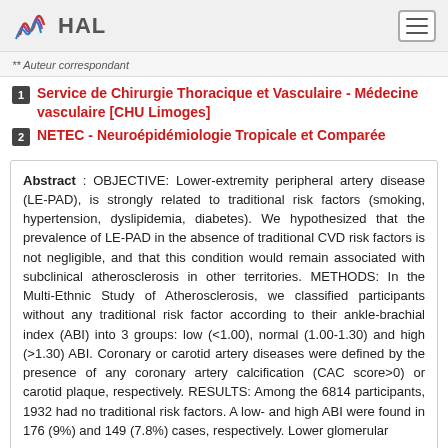HAL
** Auteur correspondant
1  Service de Chirurgie Thoracique et Vasculaire - Médecine vasculaire [CHU Limoges]
2  NETEC - Neuroépidémiologie Tropicale et Comparée
Abstract : OBJECTIVE: Lower-extremity peripheral artery disease (LE-PAD), is strongly related to traditional risk factors (smoking, hypertension, dyslipidemia, diabetes). We hypothesized that the prevalence of LE-PAD in the absence of traditional CVD risk factors is not negligible, and that this condition would remain associated with subclinical atherosclerosis in other territories. METHODS: In the Multi-Ethnic Study of Atherosclerosis, we classified participants without any traditional risk factor according to their ankle-brachial index (ABI) into 3 groups: low (<1.00), normal (1.00-1.30) and high (>1.30) ABI. Coronary or carotid artery diseases were defined by the presence of any coronary artery calcification (CAC score>0) or carotid plaque, respectively. RESULTS: Among the 6814 participants, 1932 had no traditional risk factors. A low- and high ABI were found in 176 (9%) and 149 (7.8%) cases, respectively. Lower glomerular